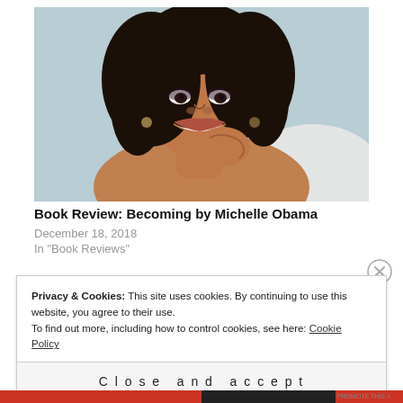[Figure (photo): Portrait photo of Michelle Obama smiling, hand near face, against a light blue-grey background, wearing a white off-shoulder top with curly dark hair]
Book Review: Becoming by Michelle Obama
December 18, 2018
In "Book Reviews"
Privacy & Cookies: This site uses cookies. By continuing to use this website, you agree to their use.
To find out more, including how to control cookies, see here: Cookie Policy
Close and accept